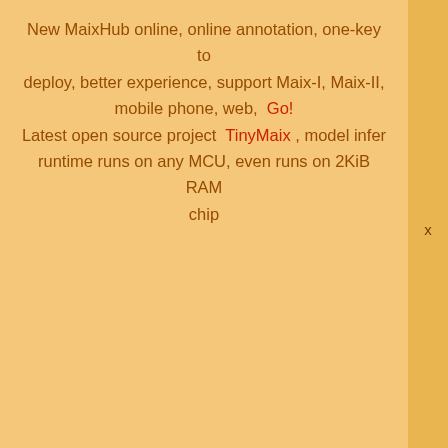New MaixHub online, online annotation, one-key to deploy, better experience, support Maix-I, Maix-II, mobile phone, web, Go! Latest open source project TinyMaix , model infer runtime runs on any MCU, even runs on 2KiB RAM chip
[Figure (logo): Sipeed wiki logo with red S icon and wiki text]
maix_asr (voice recognition module)